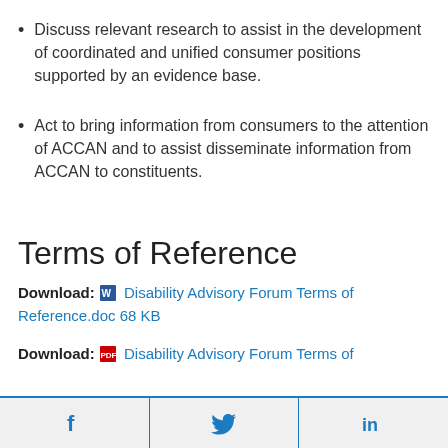Discuss relevant research to assist in the development of coordinated and unified consumer positions supported by an evidence base.
Act to bring information from consumers to the attention of ACCAN and to assist disseminate information from ACCAN to constituents.
Terms of Reference
Download: Disability Advisory Forum Terms of Reference.doc 68 KB
Download: Disability Advisory Forum Terms of
[Figure (infographic): Social share buttons: Facebook (f), Twitter (bird icon), LinkedIn (in)]